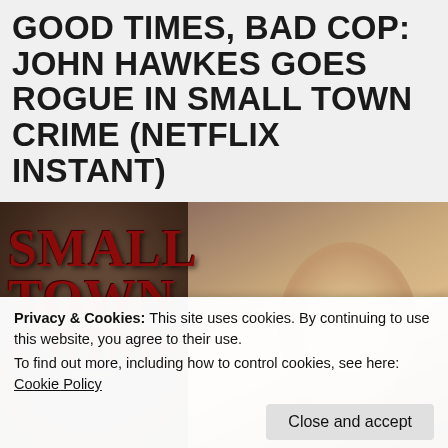GOOD TIMES, BAD COP: JOHN HAWKES GOES ROGUE IN SMALL TOWN CRIME (NETFLIX INSTANT)
[Figure (photo): Movie still from Small Town Crime showing a man with cuts and blood on his face holding a phone, with the movie title 'SMALL TOWN CRIME' overlaid in large dark red text on the left side of the image.]
Privacy & Cookies: This site uses cookies. By continuing to use this website, you agree to their use.
To find out more, including how to control cookies, see here: Cookie Policy
Close and accept
films infused with black humor and brilliantly